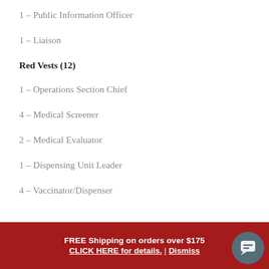1 – Public Information Officer
1 – Liaison
Red Vests (12)
1 – Operations Section Chief
4 – Medical Screener
2 – Medical Evaluator
1 – Dispensing Unit Leader
4 – Vaccinator/Dispenser
FREE Shipping on orders over $175 CLICK HERE for details. | Dismiss